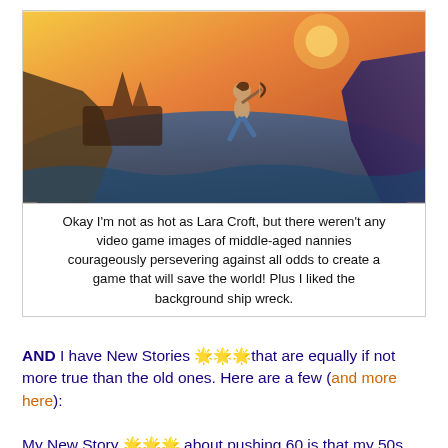[Figure (illustration): Illustration of a woman resembling Lara Croft leaping across rocky cliffs with a bow, dramatic ocean and shipwreck in the background, warm orange and purple tones.]
Okay I'm not as hot as Lara Croft, but there weren't any video game images of middle-aged nannies courageously persevering against all odds to create a game that will save the world! Plus I liked the background ship wreck.
AND I have New Stories 🌟🌟🌟that are equally if not more true than the old ones. Here are a few (and more here):
My New Story 🌟🌟🌟 about pushing 60 is that my 50s have been the happiest years of my life so far, and I have one more year left in this decade.  My life just seems to continue to be getting better and better. I actually kind of like the idea